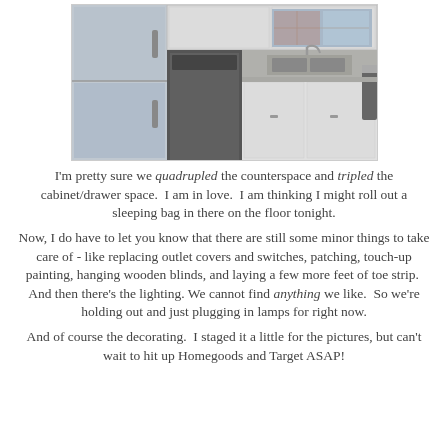[Figure (photo): Kitchen photo showing stainless steel refrigerator on the left, dishwasher in middle, white cabinets and sink on the right, with a window in the background showing brick exterior]
I'm pretty sure we quadrupled the counterspace and tripled the cabinet/drawer space.  I am in love.  I am thinking I might roll out a sleeping bag in there on the floor tonight.
Now, I do have to let you know that there are still some minor things to take care of - like replacing outlet covers and switches, patching, touch-up painting, hanging wooden blinds, and laying a few more feet of toe strip.  And then there's the lighting. We cannot find anything we like.  So we're holding out and just plugging in lamps for right now.
And of course the decorating.  I staged it a little for the pictures, but can't wait to hit up Homegoods and Target ASAP!